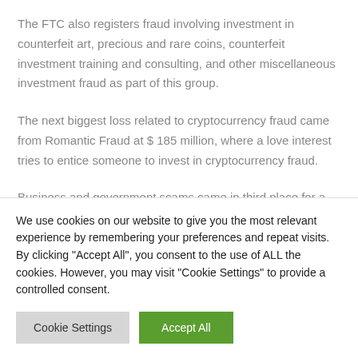The FTC also registers fraud involving investment in counterfeit art, precious and rare coins, counterfeit investment training and consulting, and other miscellaneous investment fraud as part of this group.
The next biggest loss related to cryptocurrency fraud came from Romantic Fraud at $ 185 million, where a love interest tries to entice someone to invest in cryptocurrency fraud.
Business and government scams came in third place for a total of
We use cookies on our website to give you the most relevant experience by remembering your preferences and repeat visits. By clicking "Accept All", you consent to the use of ALL the cookies. However, you may visit "Cookie Settings" to provide a controlled consent.